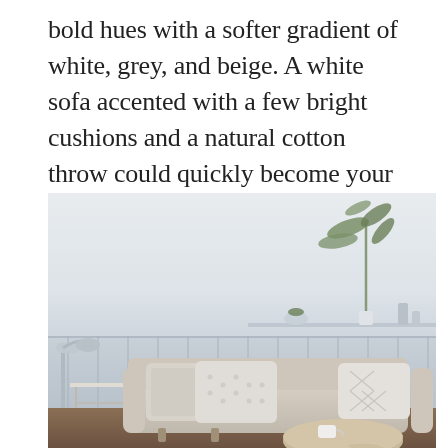bold hues with a softer gradient of white, grey, and beige. A white sofa accented with a few bright cushions and a natural cotton throw could quickly become your favourite space at home.
[Figure (photo): A minimalist Scandinavian-style living room with a light grey/beige sofa adorned with white and grey cushions, a floor lamp, a side table, a round ottoman/coffee table with a cup and throw blanket, a shelf with plants and decorative objects, all against a soft white/grey wall.]